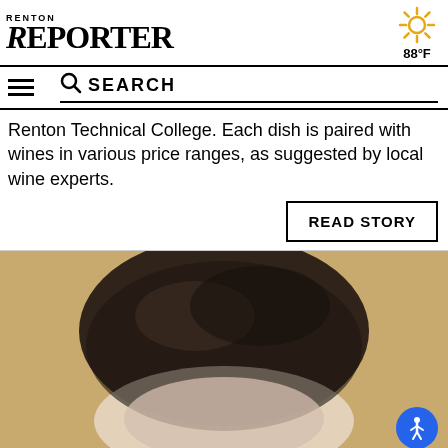RENTON REPORTER  88°F
Renton Technical College. Each dish is paired with wines in various price ranges, as suggested by local wine experts.
READ STORY
[Figure (photo): Close-up photo of a person's head/face with dark hair, against a tan/golden background. The image is cropped showing the top of the head and forehead area.]